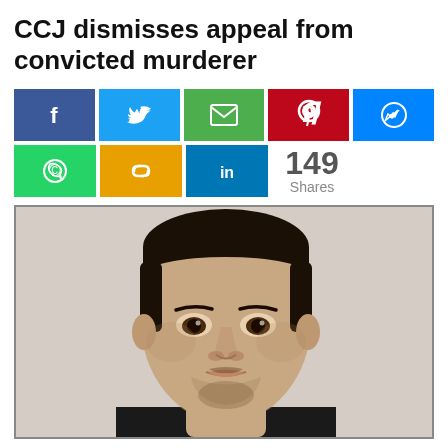CCJ dismisses appeal from convicted murderer
[Figure (infographic): Social media share buttons: Facebook, Twitter, Email, Pinterest, Messenger, WhatsApp, Link, LinkedIn, and a share count of 149 Shares]
[Figure (photo): Mugshot-style photo of a young man with short hair, stubble beard, wearing a dark shirt, against a light wall background]